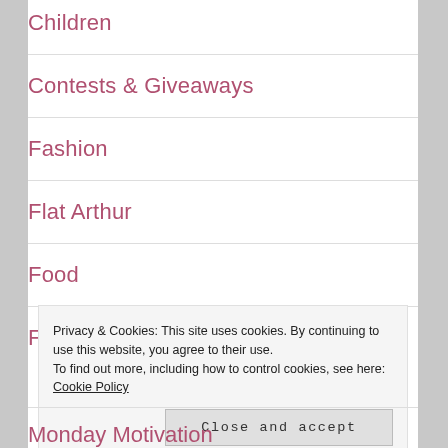Children
Contests & Giveaways
Fashion
Flat Arthur
Food
Friday Favorites
Privacy & Cookies: This site uses cookies. By continuing to use this website, you agree to their use.
To find out more, including how to control cookies, see here: Cookie Policy
Monday Motivation